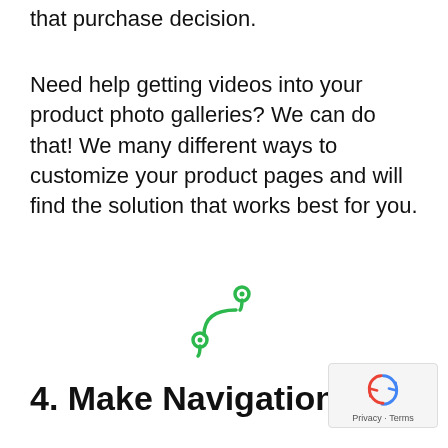that purchase decision.
Need help getting videos into your product photo galleries? We can do that! We many different ways to customize your product pages and will find the solution that works best for you.
[Figure (illustration): Green icon showing a route/path between two location pins]
4. Make Navigation Easy